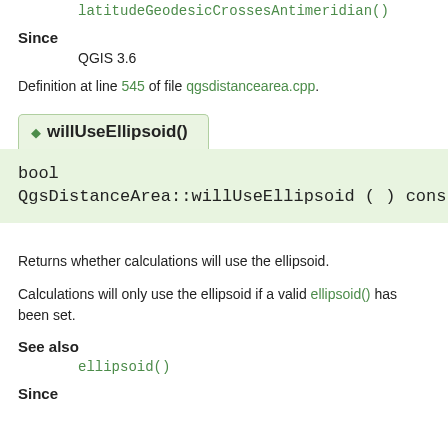latitudeGeodesicCrossesAntimeridian()
Since
QGIS 3.6
Definition at line 545 of file qgsdistancearea.cpp.
willUseEllipsoid()
bool QgsDistanceArea::willUseEllipsoid ( ) cons
Returns whether calculations will use the ellipsoid.
Calculations will only use the ellipsoid if a valid ellipsoid() has been set.
See also
ellipsoid()
Since